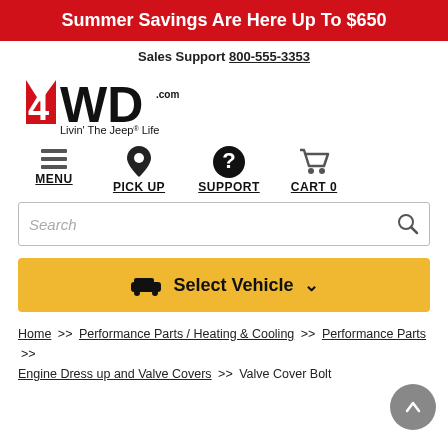Summer Savings Are Here Up To $650
Sales Support 800-555-3353
[Figure (logo): 4WD.com logo with red and black design and tagline Livin' The Jeep® Life]
MENU  PICK UP  SUPPORT  CART 0
Search
Select Vehicle
Home >> Performance Parts / Heating & Cooling >> Performance Parts >> Engine Dress up and Valve Covers >> Valve Cover Bolt